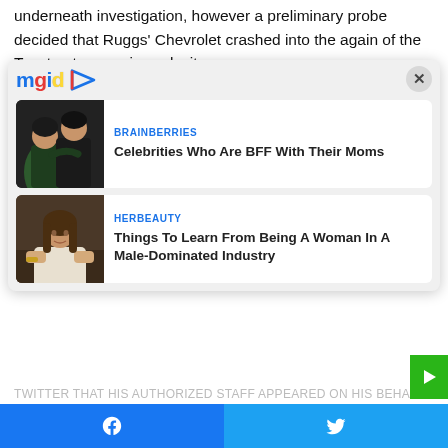underneath investigation, however a preliminary probe decided that Ruggs' Chevrolet crashed into the again of the Toyota at excessive velocity.
Newly released video footage exhibits flames engulfing the Toyota within the aftermath of the crash, as one particular person will be seen sitting down within the
[Figure (screenshot): mgid content recommendation widget showing two article cards: 1) BRAINBERRIES - Celebrities Who Are BFF With Their Moms, 2) HERBEAUTY - Things To Learn From Being A Woman In A Male-Dominated Industry. Widget has mgid logo at top left and X close button at top right.]
TWITTER THAT HIS AUTHORIZED STAFF APPEARED ON HIS BEHALF
[Figure (screenshot): Bottom social share bar with Facebook button on left (blue) and Twitter button on right (light blue)]